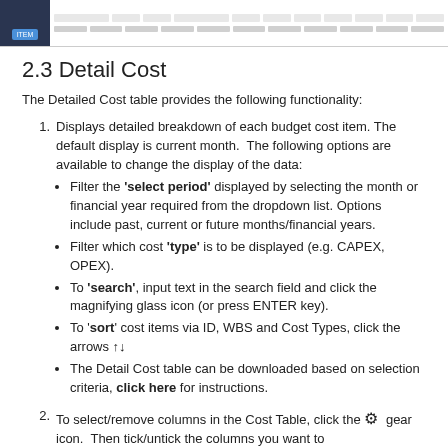[Figure (screenshot): Screenshot of a spreadsheet/table interface showing column headers and one data row, with a dark sidebar on the left containing a blue button.]
2.3 Detail Cost
The Detailed Cost table provides the following functionality:
1. Displays detailed breakdown of each budget cost item. The default display is current month. The following options are available to change the display of the data:
Filter the 'select period' displayed by selecting the month or financial year required from the dropdown list. Options include past, current or future months/financial years.
Filter which cost 'type' is to be displayed (e.g. CAPEX, OPEX).
To 'search', input text in the search field and click the magnifying glass icon (or press ENTER key).
To 'sort' cost items via ID, WBS and Cost Types, click the arrows ↑↓
The Detail Cost table can be downloaded based on selection criteria, click here for instructions.
2. To select/remove columns in the Cost Table, click the gear icon. Then tick/untick the columns you want to